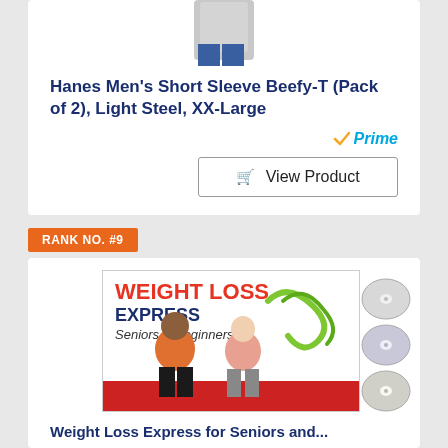[Figure (photo): Product image of Hanes Men's Short Sleeve Beefy-T shirt in light steel color, person wearing gray t-shirt and blue pants, cropped at top]
Hanes Men's Short Sleeve Beefy-T (Pack of 2), Light Steel, XX-Large
Prime
View Product
RANK NO. #9
[Figure (photo): DVD product image for Weight Loss Express for Seniors and Beginners, showing two instructors, multiple DVDs and a yellow resistance band]
Weight Loss Express for Seniors and...